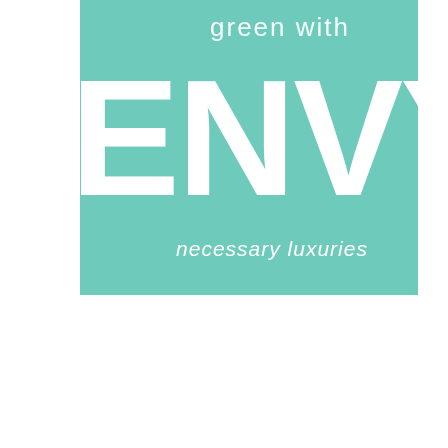[Figure (logo): Green with Envy logo — teal/mint green square background with white text. Top reads 'green with' in small light letters, large bold 'ENVY' text dominates the center, and 'necessary luxuries' tagline appears below in italic light text.]